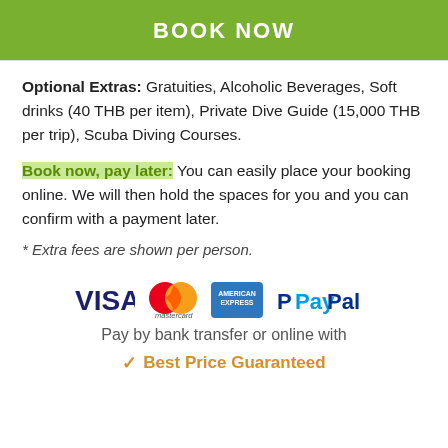BOOK NOW
Optional Extras: Gratuities, Alcoholic Beverages, Soft drinks (40 THB per item), Private Dive Guide (15,000 THB per trip), Scuba Diving Courses.
Book now, pay later: You can easily place your booking online. We will then hold the spaces for you and you can confirm with a payment later.
* Extra fees are shown per person.
[Figure (logo): Payment logos: VISA, Mastercard, American Express, PayPal]
Pay by bank transfer or online with
Best Price Guaranteed